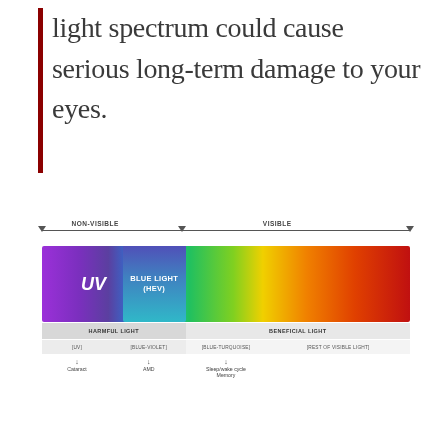light spectrum could cause serious long-term damage to your eyes.
[Figure (infographic): Light spectrum diagram showing NON-VISIBLE and VISIBLE ranges. A spectrum bar runs from purple/UV on the left through blue light (HEV), green, yellow, orange, to red on the right. An overlay box labels 'BLUE LIGHT (HEV)'. Below the bar are labels: HARMFUL LIGHT (UV, BLUE-VIOLET) and BENEFICIAL LIGHT (BLUE-TURQUOISE, REST OF VISIBLE LIGHT). Arrows point down to: Cataract, AMD, Sleep/wake cycle, Memory.]